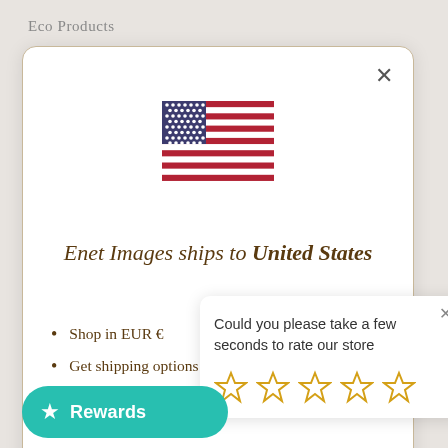Eco Products
[Figure (illustration): US flag SVG illustration inside a modal dialog]
Enet Images ships to United States
Shop in EUR €
Get shipping options for United States
Could you please take a few seconds to rate our store
[Figure (illustration): Five empty gold star rating icons]
Cha
Rewards